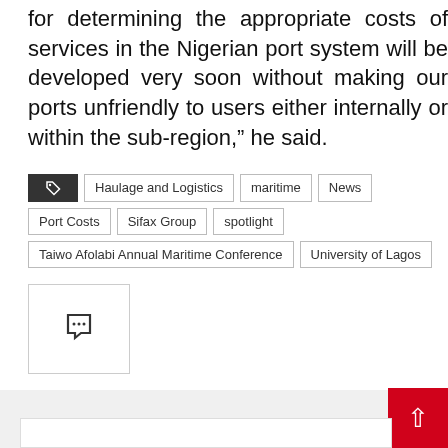for determining the appropriate costs of services in the Nigerian port system will be developed very soon without making our ports unfriendly to users either internally or within the sub-region,” he said.
Haulage and Logistics
maritime
News
Port Costs
Sifax Group
spotlight
Taiwo Afolabi Annual Maritime Conference
University of Lagos
[Figure (screenshot): Comment button icon box]
[Figure (infographic): Share bar with Facebook, Twitter, Google+, Reddit, and more social share buttons]